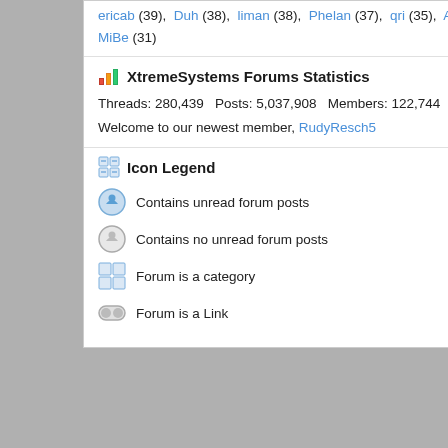ericab (39), Duh (38), liman (38), Phelan (37), qri (35), Andresv8, MiBe (31)
XtremeSystems Forums Statistics
Threads: 280,439  Posts: 5,037,908  Members: 122,744
Welcome to our newest member, RudyResch5
Icon Legend
Contains unread forum posts
Contains no unread forum posts
Forum is a category
Forum is a Link
[Figure (photo): Advertisement banner: Prevent Unauthorized Access - Secure Your Workplace by MGA]
-- vB4 Default Style    Contact Us
All times are GMT -8. The time now is 04:3
XtremeSystems